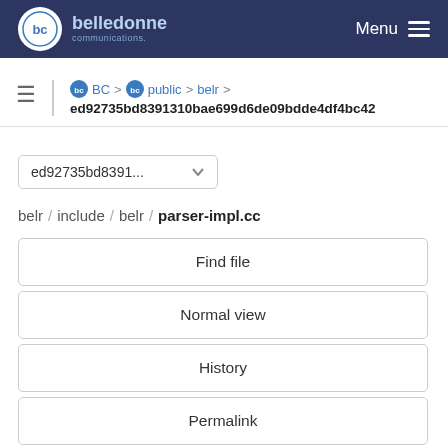belledonne communications — Menu
BC > public > belr > ed92735bd8391310bae699d6de09bdde4df4bc42
ed92735bd8391...
belr / include / belr / parser-impl.cc
Find file
Normal view
History
Permalink
parser-impl.cc  11.7 KB
Edit  Web IDE